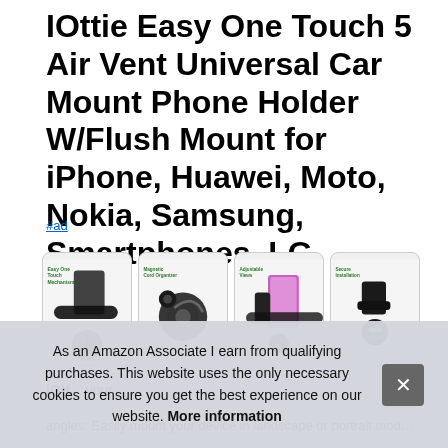IOttie Easy One Touch 5 Air Vent Universal Car Mount Phone Holder W/Flush Mount for iPhone, Huawei, Moto, Nokia, Samsung, Smartphones, LG
#ad
[Figure (photo): Four product thumbnail images showing the iOttie car mount: Easy One Touch mechanism, Magnetic cord organizer, Adjustable views, Secure installation]
iOttie [truncated brand/description text starting with iOtt...] your...
angles: Easily mount your device in landscape or portrait mode...
As an Amazon Associate I earn from qualifying purchases. This website uses the only necessary cookies to ensure you get the best experience on our website. More information